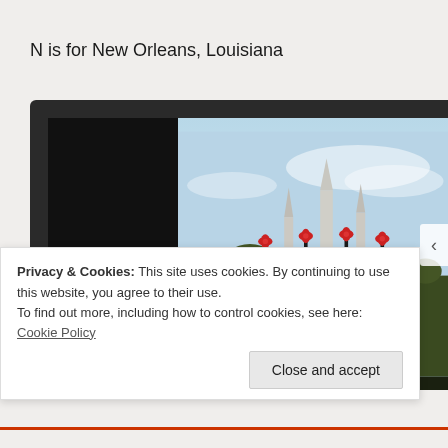N is for New Orleans, Louisiana
[Figure (photo): Photo of New Orleans Jackson Square area showing the St. Louis Cathedral with Christmas decorations on lamp posts, trees, and a blue sky. Displayed inside a dark laptop/tablet frame. Left side shows a black panel.]
Privacy & Cookies: This site uses cookies. By continuing to use this website, you agree to their use.
To find out more, including how to control cookies, see here: Cookie Policy
Close and accept